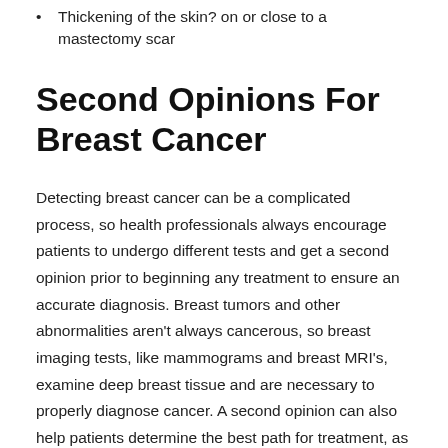Thickening of the skin? on or close to a mastectomy scar
Second Opinions For Breast Cancer
Detecting breast cancer can be a complicated process, so health professionals always encourage patients to undergo different tests and get a second opinion prior to beginning any treatment to ensure an accurate diagnosis. Breast tumors and other abnormalities aren't always cancerous, so breast imaging tests, like mammograms and breast MRI's, examine deep breast tissue and are necessary to properly diagnose cancer. A second opinion can also help patients determine the best path for treatment, as different specialists can provide different insights for treatment options. Patients should keep records of all visits and diagnoses to maintain evidence for a malpractice lawsuit if a